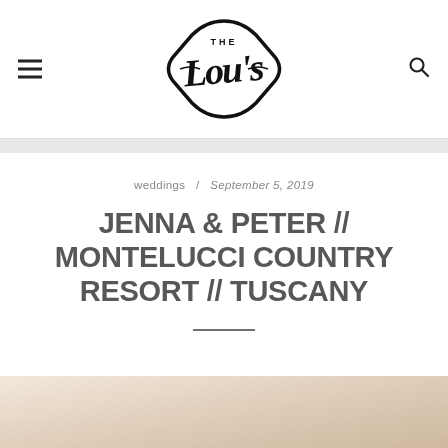[Figure (logo): The Lou's blog logo — decorative script lettering inside a diamond/badge shape]
weddings / September 5, 2019
JENNA & PETER // MONTELUCCI COUNTRY RESORT // TUSCANY
[Figure (photo): Partial photograph showing a warm-toned outdoor/architectural scene, cropped at the bottom of the page]